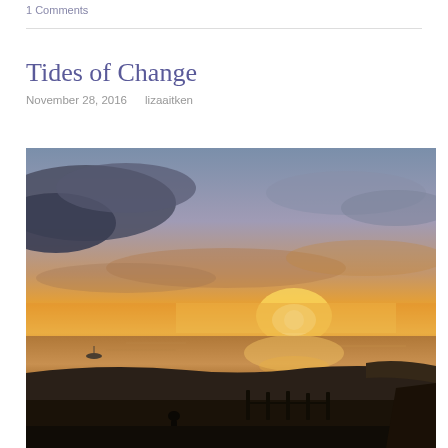1 Comments
Tides of Change
November 28, 2016    lizaaitken
[Figure (photo): Sunset over a tidal estuary or coastal waterway. The sky is filled with dramatic clouds lit in orange, yellow, and golden hues at the horizon with darker blue-grey clouds above. The water below reflects warm sunset colors. In the foreground, dark silhouetted land, fence posts, and a figure are visible at the bottom.]